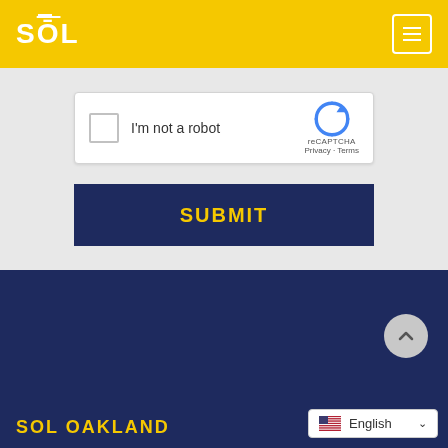SOL
[Figure (screenshot): reCAPTCHA widget with checkbox labeled I'm not a robot and reCAPTCHA branding with Privacy and Terms links]
SUBMIT
SOL OAKLAND
English